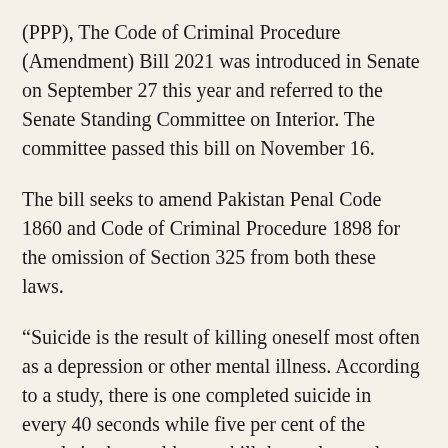(PPP), The Code of Criminal Procedure (Amendment) Bill 2021 was introduced in Senate on September 27 this year and referred to the Senate Standing Committee on Interior. The committee passed this bill on November 16.
The bill seeks to amend Pakistan Penal Code 1860 and Code of Criminal Procedure 1898 for the omission of Section 325 from both these laws.
“Suicide is the result of killing oneself most often as a depression or other mental illness. According to a study, there is one completed suicide in every 40 seconds while five per cent of the people in the world try to kill themselves at least once during their lifetime. Around 79 per cent suicides are from low or middle-income countries,” reads the statement of objects and reasons of